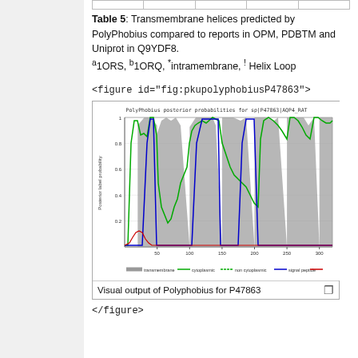Table 5: Transmembrane helices predicted by PolyPhobius compared to reports in OPM, PDBTM and Uniprot in Q9YDF8. a1ORS, b1ORQ, *intramembrane, ! Helix Loop
<figure id="fig:pkupolyphobiusP47863">
[Figure (continuous-plot): PolyPhobius posterior probabilities for sp|P47863|AQP4_RAT showing transmembrane (grey filled), cytoplasmic (green line), non-cytoplasmic (blue line), and signal peptide (red line) probability traces across approximately 300 amino acid residues. X-axis shows positions 50, 100, 150, 200, 250, 300. Y-axis shows Posterior label probability from 0 to 1.]
Visual output of Polyphobius for P47863
</figure>